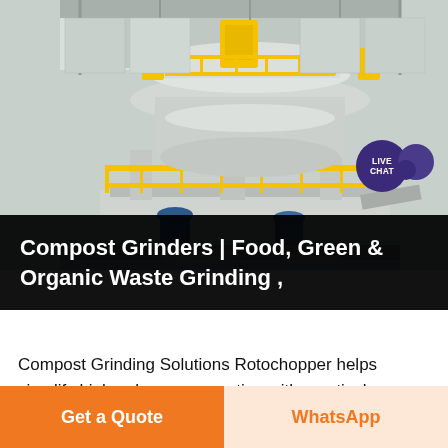[Figure (photo): Large industrial compost grinding machine inside a warehouse/factory, showing a heavy-duty multi-level grinder/chopper with yellow railings, yellow equipment on top, and blue components at the base. Workers visible in background. Machine is grey/white in color.]
Compost Grinders | Food, Green & Organic Waste Grinding ,
Compost Grinding Solutions Rotochopper helps simplify high-volume composting with practical grinding, shredding,
Get a Quote
WhatsApp